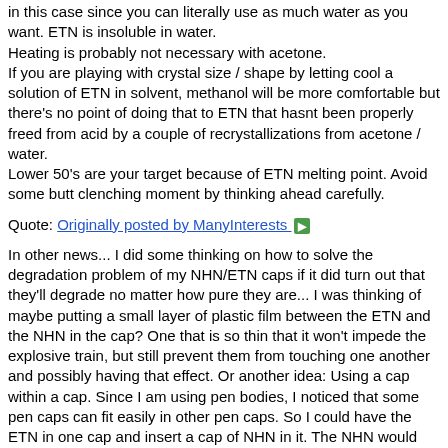in this case since you can literally use as much water as you want. ETN is insoluble in water. Heating is probably not necessary with acetone. If you are playing with crystal size / shape by letting cool a solution of ETN in solvent, methanol will be more comfortable but there's no point of doing that to ETN that hasnt been properly freed from acid by a couple of recrystallizations from acetone / water. Lower 50's are your target because of ETN melting point. Avoid some butt clenching moment by thinking ahead carefully.
Quote: Originally posted by ManyInterests
In other news... I did some thinking on how to solve the degradation problem of my NHN/ETN caps if it did turn out that they'll degrade no matter how pure they are... I was thinking of maybe putting a small layer of plastic film between the ETN and the NHN in the cap? One that is so thin that it won't impede the explosive train, but still prevent them from touching one another and possibly having that effect. Or another idea: Using a cap within a cap. Since I am using pen bodies, I noticed that some pen caps can fit easily in other pen caps. So I could have the ETN in one cap and insert a cap of NHN in it. The NHN would already detonate and set off the ETN, completing the explosive train.
If you look at cutaways from military fuzes and ordnance you'll see a lot of cardboard, bakelite, copper or brass washers used even when you'd think there is no chemical incompatibility so that's probably a